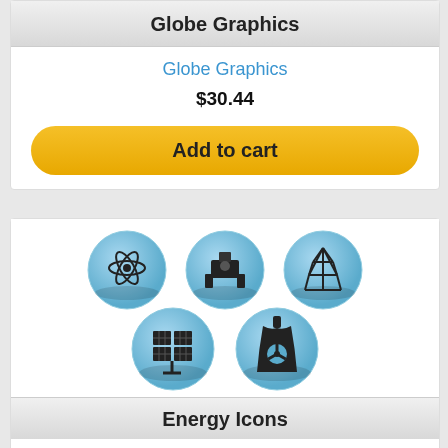Globe Graphics
Globe Graphics
$30.44
Add to cart
[Figure (illustration): Five blue glossy ball icons with energy-related symbols: atom, satellite dish/camera, electrical tower (top row), solar panels, nuclear cooling tower (bottom row)]
Energy Icons
Energy Icons
4 out of 5 stars rating